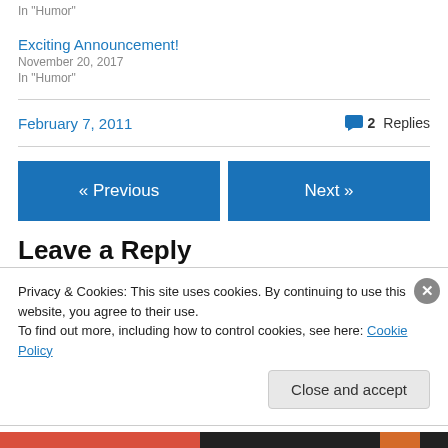In "Humor"
Exciting Announcement!
November 20, 2017
In "Humor"
February 7, 2011
2 Replies
« Previous
Next »
Leave a Reply
Privacy & Cookies: This site uses cookies. By continuing to use this website, you agree to their use.
To find out more, including how to control cookies, see here: Cookie Policy
Close and accept